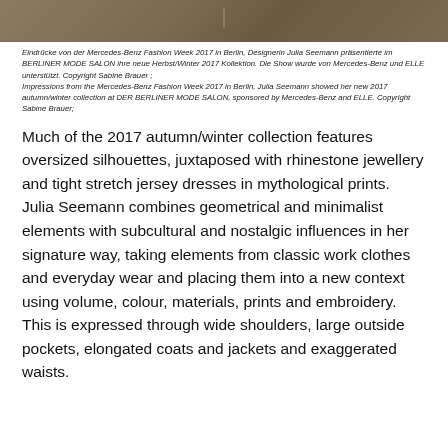[Figure (photo): Partial view of a fashion show or runway photo with a brownish/taupe textured background, appears to be from the Mercedes-Benz Fashion Week Berlin 2017]
Eindrücke von der Mercedes-Benz Fashion Week 2017 in Berlin, Designerin Julia Seemann präsentierte im BERLINER MODE SALON ihre neue Herbst/Winter 2017 Kollektion. Die Show wurde von Mercedes-Benz und ELLE unterstützt. Copyright Sabine Brauer ; Impressions from the Mercedes-Benz Fashion Week 2017 in Berlin, Julia Seemann showed her new 2017 autumn/winter collection at DER BERLINER MODE SALON, sponsored by Mercedes-Benz and ELLE. Copyright Sabine Brauer;
Much of the 2017 autumn/winter collection features oversized silhouettes, juxtaposed with rhinestone jewellery and tight stretch jersey dresses in mythological prints. Julia Seemann combines geometrical and minimalist elements with subcultural and nostalgic influences in her signature way, taking elements from classic work clothes and everyday wear and placing them into a new context using volume, colour, materials, prints and embroidery. This is expressed through wide shoulders, large outside pockets, elongated coats and jackets and exaggerated waists.